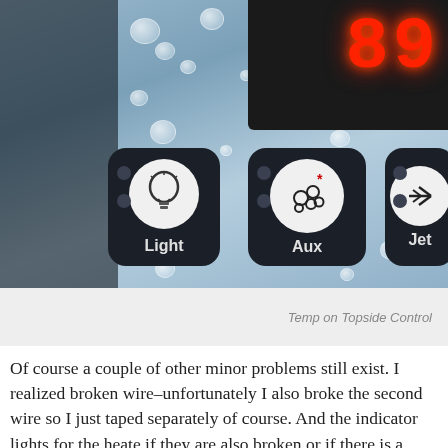[Figure (photo): Close-up photo of a hot tub topside control panel showing a red LED display reading '89' and three buttons labeled 'Light' (with lightbulb icon), 'Aux' (with bubbles icon and red asterisk), and 'Jet' (with jet icon). Background is blue with water droplets.]
Temp on Topside Control
Of course a couple of other minor problems still exist. I realized broken wire–unfortunately I also broke the second wire so I just taped separately of course. And the indicator lights for the heate if they are also broken or if there is a disconnected wire. One se not connected to the board and even from the diagrams I cannot